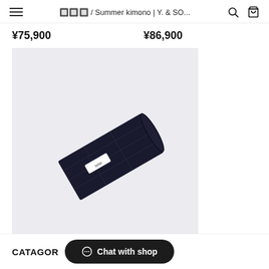夏きもの / Summer kimono | Y. & SO...
¥75,900   ¥86,900
[Figure (photo): A rolled piece of dark navy/black kimono fabric with a small white label, displayed diagonally on a light gray background.]
夏物 / ディープブラック / Deepblack
¥86,900
CATEGOR
Chat with shop